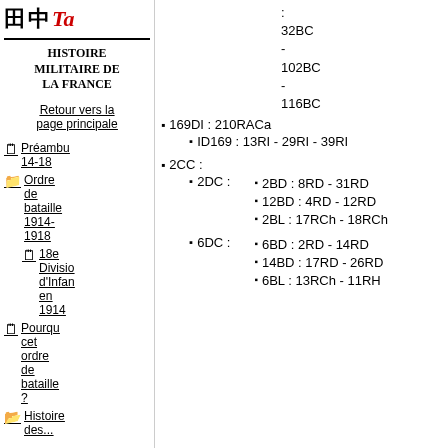Histoire militaire de la France
Retour vers la page principale
Préambu 14-18
Ordre de bataille 1914-1918
18e Division d'Infanterie en 1914
Pourquoi cet ordre de bataille ?
Histoire des...
: 32BC - 102BC - 116BC
169DI : 210RACa
ID169 : 13RI - 29RI - 39RI
2CC :
2DC :
2BD : 8RD - 31RD
12BD : 4RD - 12RD
2BL : 17RCh - 18RCh
6DC :
6BD : 2RD - 14RD
14BD : 17RD - 26RD
6BL : 13RCh - 11RH